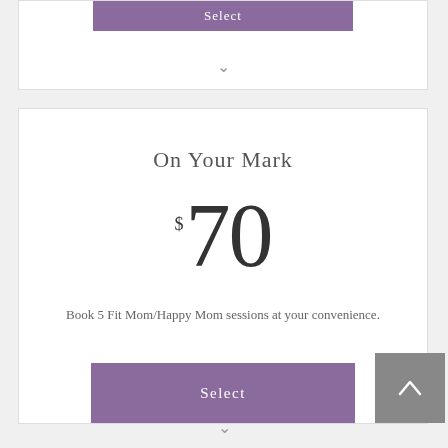[Figure (screenshot): Partial top card with purple Select button and downward chevron]
On Your Mark
$70
Book 5 Fit Mom/Happy Mom sessions at your convenience.
[Figure (screenshot): Purple Select button at bottom of main card]
[Figure (screenshot): Grey scroll-to-top button with upward chevron arrow]
∨